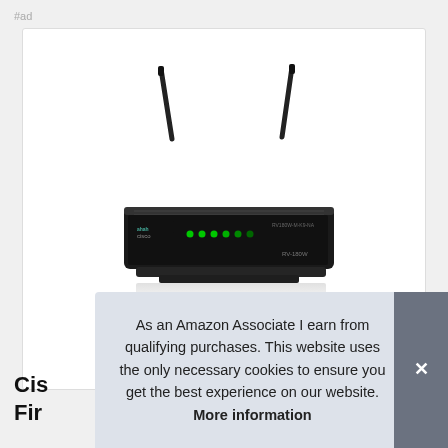#ad
[Figure (photo): Cisco wireless router with two antennas and green LED indicators on a white background inside a product card]
Cis
Fir
As an Amazon Associate I earn from qualifying purchases. This website uses the only necessary cookies to ensure you get the best experience on our website. More information